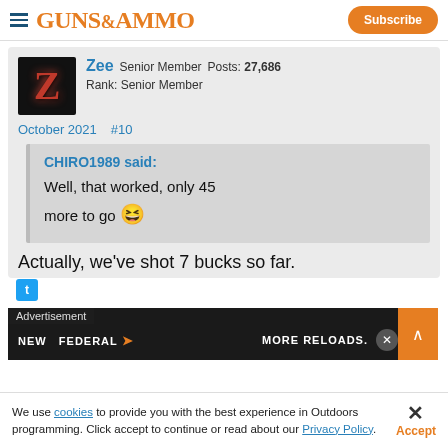GUNS&AMMO | Subscribe
Zee Senior Member Posts: 27,686 Rank: Senior Member
October 2021 #10
CHIRO1989 said: Well, that worked, only 45 more to go 😆
Actually, we've shot 7 bucks so far.
[Figure (screenshot): Advertisement banner: NEW FEDERAL MORE RELOADS.]
We use cookies to provide you with the best experience in Outdoors programming. Click accept to continue or read about our Privacy Policy.